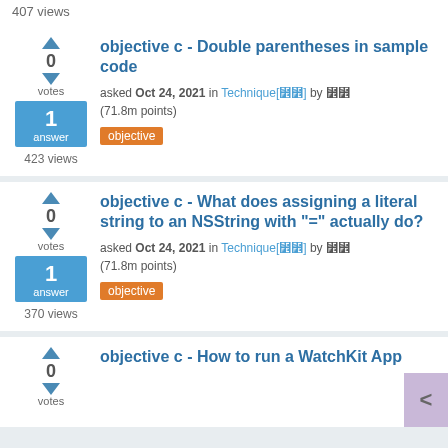407 views
0 votes
1 answer
423 views
objective c - Double parentheses in sample code
asked Oct 24, 2021 in Technique[â»¾â»¾] by â»¾â»¾ (71.8m points)
objective
0 votes
1 answer
370 views
objective c - What does assigning a literal string to an NSString with "=" actually do?
asked Oct 24, 2021 in Technique[â»¾â»¾] by â»¾â»¾ (71.8m points)
objective
0 votes
objective c - How to run a WatchKit App